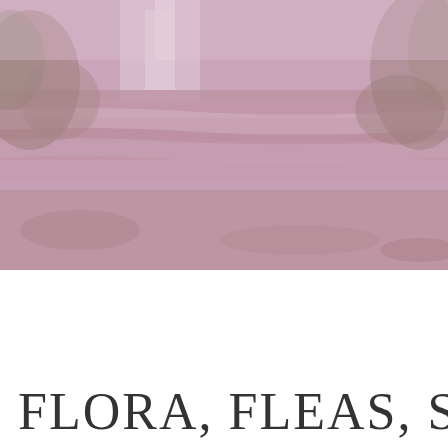[Figure (photo): A faded/washed-out pink-tinted photograph of a waterfall cascading over rocky steps, surrounded by lush tropical green foliage and trees. The image has a soft, desaturated pinkish-lavender overlay giving it a dreamy appearance.]
FLORA, FLEAS, SCE